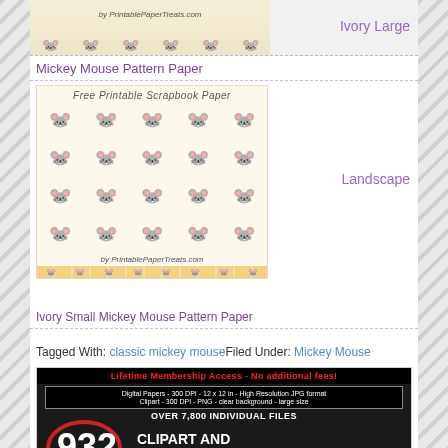[Figure (photo): Top cropped image showing Mickey Mouse pattern paper with 'by PrintablePaperTreats.com' text]
Ivory Large
Mickey Mouse Pattern Paper
[Figure (photo): Free Printable Scrapbook Paper with Mickey Mouse pattern, ivory small size, landscape orientation, by PrintablePaperTreats.com]
Landscape
Ivory Small Mickey Mouse Pattern Paper
Tagged With: classic mickey mouseFiled Under: Mickey Mouse
[Figure (infographic): Advertisement for clipart and digital paper packs: Lifetime Membership Access - No additional fees! Digital Papers 300 DPI 12x12 in High Resolution JPG format, Clipart 300 DPI PNG clear background large size. OVER 7,800 INDIVIDUAL FILES. 932 CLIPART AND DIGITAL PAPER PACKS with sample paper images at bottom.]